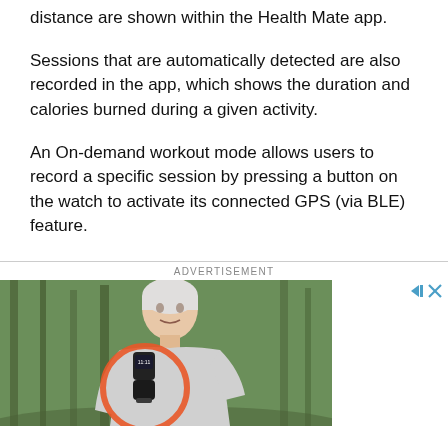distance are shown within the Health Mate app.
Sessions that are automatically detected are also recorded in the app, which shows the duration and calories burned during a given activity.
An On-demand workout mode allows users to record a specific session by pressing a button on the watch to activate its connected GPS (via BLE) feature.
ADVERTISEMENT
[Figure (photo): An older woman with short white hair wearing a light grey t-shirt outdoors in a forest setting, with a fitness tracker/smartwatch displayed prominently with an orange circular highlight around it showing '11:11' on the display.]